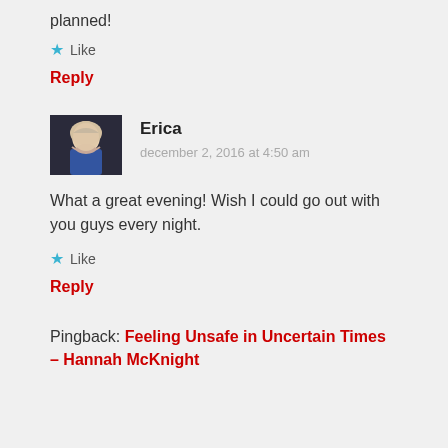planned!
★ Like
Reply
Erica
december 2, 2016 at 4:50 am
What a great evening! Wish I could go out with you guys every night.
★ Like
Reply
Pingback: Feeling Unsafe in Uncertain Times – Hannah McKnight